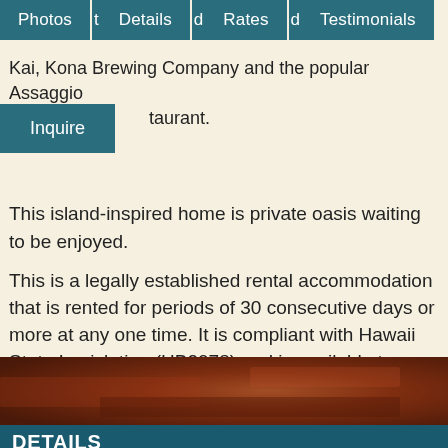Photos | Details | Rates | Testimonials
Kai, Kona Brewing Company and the popular Assaggio restaurant.
Inquire
This island-inspired home is private oasis waiting to be enjoyed.
This is a legally established rental accommodation that is rented for periods of 30 consecutive days or more at any one time. It is compliant with Hawaii State Legislation (HB2078) and is available to lease from 1 to 6 months Lic#TA-033-454-6944-01.
TAX ID: TA-033-454-6944-01
[Figure (photo): Brown/reddish textured surface photo band]
DETAILS
Location: Honolulu South Shore